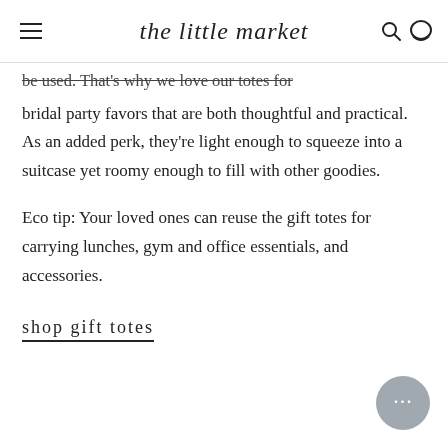the little market
be used. That's why we love our totes for bridal party favors that are both thoughtful and practical. As an added perk, they're light enough to squeeze into a suitcase yet roomy enough to fill with other goodies.
Eco tip: Your loved ones can reuse the gift totes for carrying lunches, gym and office essentials, and accessories.
shop gift totes